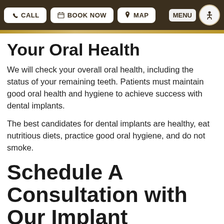CALL | BOOK NOW | MAP | MENU
Your Oral Health
We will check your overall oral health, including the status of your remaining teeth. Patients must maintain good oral health and hygiene to achieve success with dental implants.
The best candidates for dental implants are healthy, eat nutritious diets, practice good oral hygiene, and do not smoke.
Schedule A Consultation with Our Implant Dentists in Mitchel...